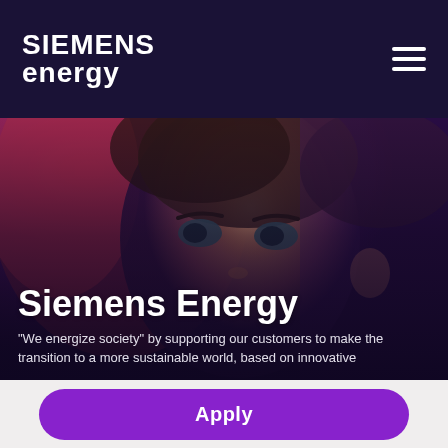SIEMENS energy
[Figure (photo): Close-up photo of a woman with red/auburn hair looking upward, with purple and red lighting, used as hero background image for Siemens Energy]
Siemens Energy
"We energize society" by supporting our customers to make the transition to a more sustainable world, based on innovative
Apply